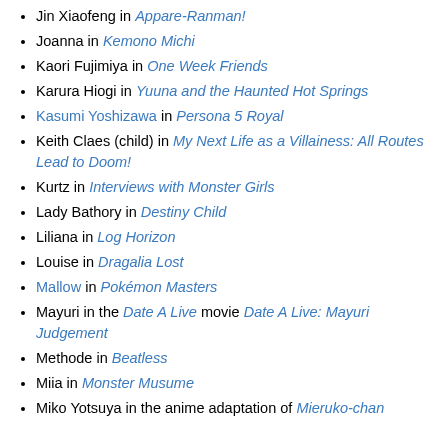Jin Xiaofeng in Appare-Ranman! (partially cut off at top)
Joanna in Kemono Michi
Kaori Fujimiya in One Week Friends
Karura Hiogi in Yuuna and the Haunted Hot Springs
Kasumi Yoshizawa in Persona 5 Royal
Keith Claes (child) in My Next Life as a Villainess: All Routes Lead to Doom!
Kurtz in Interviews with Monster Girls
Lady Bathory in Destiny Child
Liliana in Log Horizon
Louise in Dragalia Lost
Mallow in Pokémon Masters
Mayuri in the Date A Live movie Date A Live: Mayuri Judgement
Methode in Beatless
Miia in Monster Musume
Miko Yotsuya in the anime adaptation of Mieruko-chan